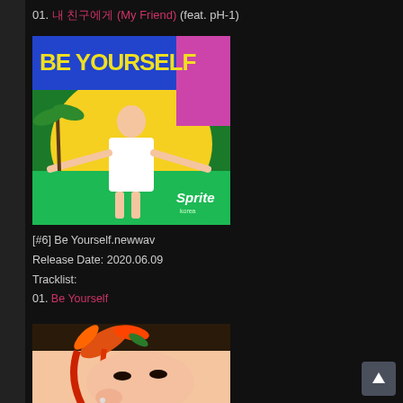01. 내 친구에게 (My Friend) (feat. pH-1)
[Figure (photo): Album cover for 'Be Yourself' by newwav. A young woman stands in front of a colorful tropical backdrop with 'BE YOURSELF' text in large yellow/green letters. A Sprite logo is visible in the bottom right.]
[#6] Be Yourself.newwav
Release Date: 2020.06.09
Tracklist:
01. Be Yourself
[Figure (photo): Close-up photo of a person with orange/red hair accessories and colorful feather decorations, posing with hands near face.]